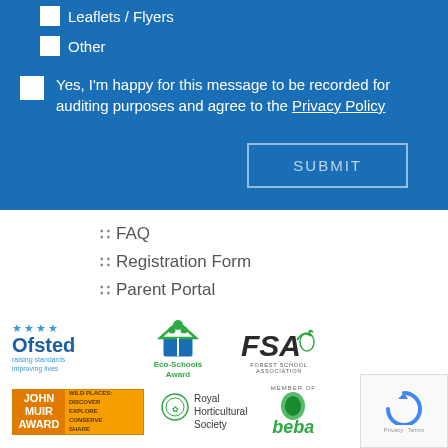Leaflets / Flyers
Other
Yes, I'm happy for this message to be recorded for auditing purposes and agree to the Privacy Policy
SUBMIT
FAQ
Registration Form
Parent Portal
[Figure (logo): Ofsted raising standards improving lives logo]
[Figure (logo): Eco-Schools Award logo]
[Figure (logo): FSA Forest School Association logo]
[Figure (logo): John Muir Award logo]
[Figure (logo): Royal Horticultural Society logo]
[Figure (logo): Member of BEBA logo]
[Figure (other): reCAPTCHA Privacy - Terms widget]